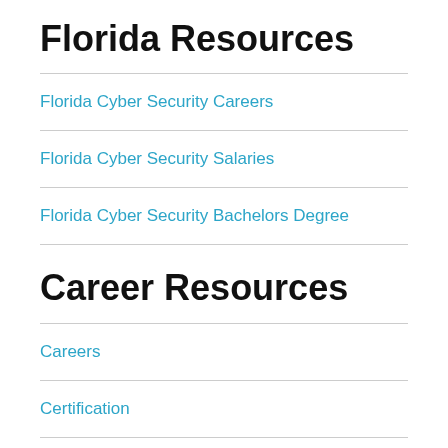Florida Resources
Florida Cyber Security Careers
Florida Cyber Security Salaries
Florida Cyber Security Bachelors Degree
Career Resources
Careers
Certification